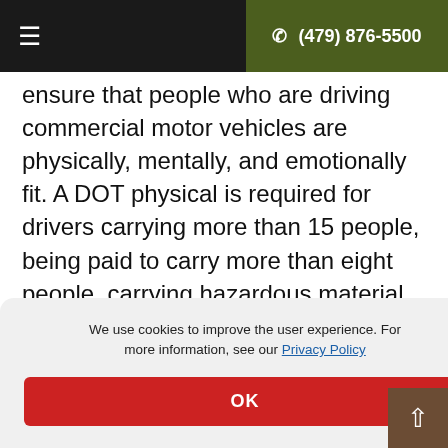≡   ☎ (479) 876-5500
ensure that people who are driving commercial motor vehicles are physically, mentally, and emotionally fit. A DOT physical is required for drivers carrying more than 15 people, being paid to carry more than eight people, carrying hazardous material, or driving on the interstate with a gross combination weight of more than 10,000 pounds.
We use cookies to improve the user experience. For more information, see our Privacy Policy
OK